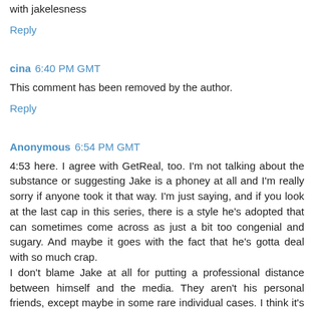with jakelesness
Reply
cina 6:40 PM GMT
This comment has been removed by the author.
Reply
Anonymous 6:54 PM GMT
4:53 here. I agree with GetReal, too. I'm not talking about the substance or suggesting Jake is a phoney at all and I'm really sorry if anyone took it that way. I'm just saying, and if you look at the last cap in this series, there is a style he's adopted that can sometimes come across as just a bit too congenial and sugary. And maybe it goes with the fact that he's gotta deal with so much crap.
I don't blame Jake at all for putting a professional distance between himself and the media. They aren't his personal friends, except maybe in some rare individual cases. I think it's his basic nature to be an open, kind person. And I think